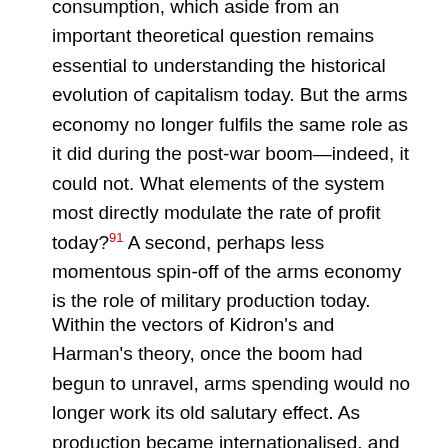consumption, which aside from an important theoretical question remains essential to understanding the historical evolution of capitalism today. But the arms economy no longer fulfils the same role as it did during the post-war boom—indeed, it could not. What elements of the system most directly modulate the rate of profit today?91 A second, perhaps less momentous spin-off of the arms economy is the role of military production today.
Within the vectors of Kidron's and Harman's theory, once the boom had begun to unravel, arms spending would no longer work its old salutary effect. As production became internationalised, and as the pressure intensified on state capitals to become competitive in the world market, the imperative was to begin diverting resources back from the military sector and into